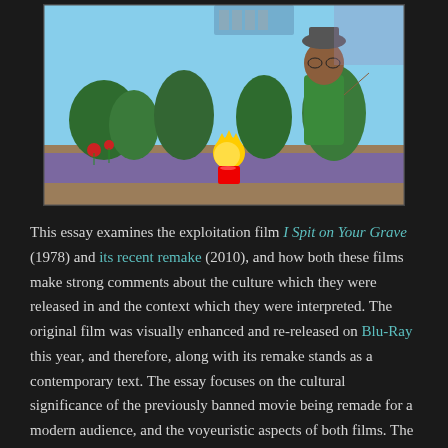[Figure (illustration): Screenshot from The Simpsons animated show showing a character in a green outfit and another character (Lisa Simpson) in an outdoor garden/nature setting]
This essay examines the exploitation film I Spit on Your Grave (1978) and its recent remake (2010), and how both these films make strong comments about the culture which they were released in and the context which they were interpreted. The original film was visually enhanced and re-released on Blu-Ray this year, and therefore, along with its remake stands as a contemporary text. The essay focuses on the cultural significance of the previously banned movie being remade for a modern audience, and the voyeuristic aspects of both films. The way the film represents meaning to the audience through sound and image will also be discussed, representation being defined as the 'process by which meaning is produced and exchanged between members of a culture... [involving] the use of